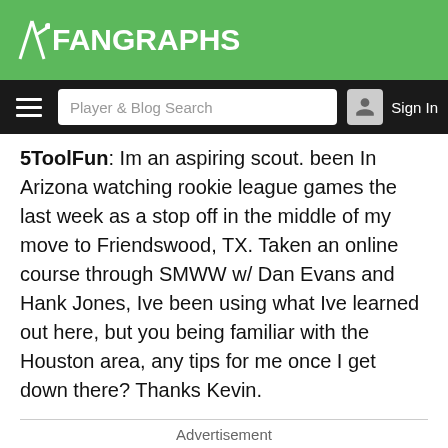FanGraphs
5ToolFun: Im an aspiring scout. been In Arizona watching rookie league games the last week as a stop off in the middle of my move to Friendswood, TX. Taken an online course through SMWW w/ Dan Evans and Hank Jones, Ive been using what Ive learned out here, but you being familiar with the Houston area, any tips for me once I get down there? Thanks Kevin.
Advertisement
12:33